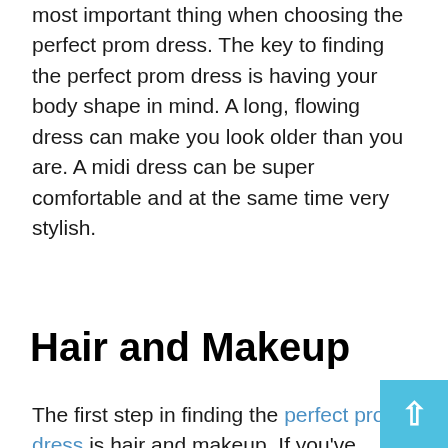most important thing when choosing the perfect prom dress. The key to finding the perfect prom dress is having your body shape in mind. A long, flowing dress can make you look older than you are. A midi dress can be super comfortable and at the same time very stylish.
Hair and Makeup
The first step in finding the perfect prom dress is hair and makeup. If you've already decided what style you want to wear, don't panic. But if you're undecided about what to wear and can't make up your mind, find a stylist who can help you with a makeover. The stylist can match the perfect outfit and hairstyle, which will make a big difference when you're out on your big day. Next, look for a reputable salon. Since your hair and makeup are one of the most important parts of your pr look, find a salon you trust. A beauty salon will help relieve